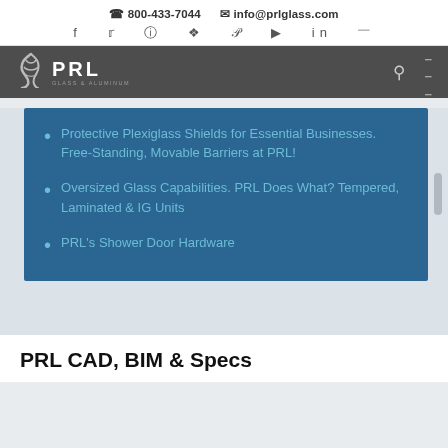800-433-7044  info@prlglass.com
[Figure (logo): PRL Glass & Aluminum logo with tornado/swirl icon on dark gray navigation bar]
Protective Plexiglass Shields for Essential Businesses. Free-Standing, Movable Barriers at PRL!
Oversized Glass Capabilities. PRL Does What? Tempered, Laminated & IG Units
PRL's Shower Door Hardware
PRL CAD, BIM & Specs